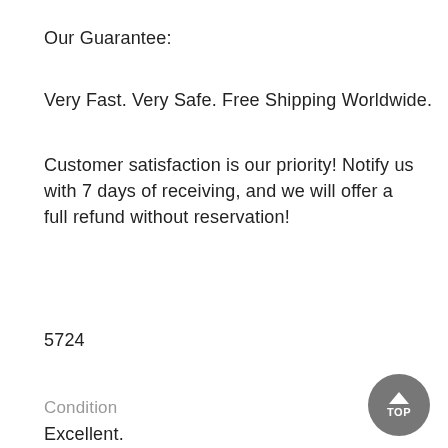Our Guarantee:
Very Fast. Very Safe. Free Shipping Worldwide.
Customer satisfaction is our priority! Notify us with 7 days of receiving, and we will offer a full refund without reservation!
5724
Condition
Excellent.